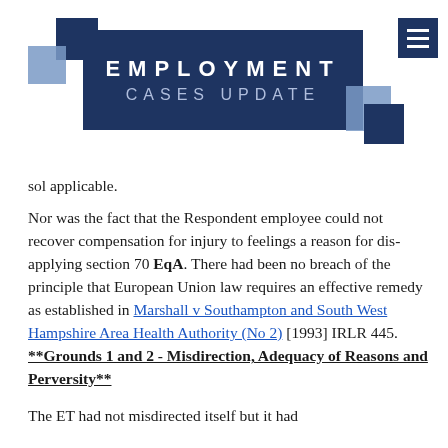[Figure (logo): Employment Cases Update logo with blue squares and dark navy banner reading EMPLOYMENT CASES UPDATE]
sol applicable.
Nor was the fact that the Respondent employee could not recover compensation for injury to feelings a reason for dis-applying section 70 EqA. There had been no breach of the principle that European Union law requires an effective remedy as established in Marshall v Southampton and South West Hampshire Area Health Authority (No 2) [1993] IRLR 445. **Grounds 1 and 2 - Misdirection, Adequacy of Reasons and Perversity**
The ET had not misdirected itself but it had